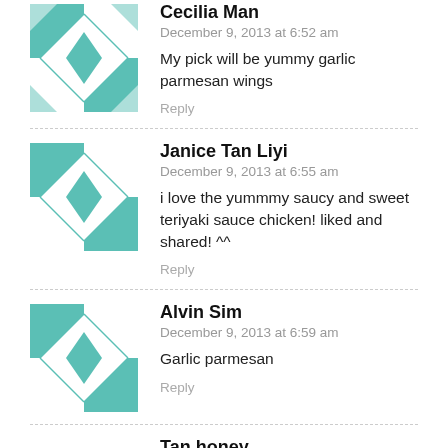Cecilia Man
December 9, 2013 at 6:52 am
My pick will be yummy garlic parmesan wings
Reply
Janice Tan Liyi
December 9, 2013 at 6:55 am
i love the yummmy saucy and sweet teriyaki sauce chicken! liked and shared! ^^
Reply
Alvin Sim
December 9, 2013 at 6:59 am
Garlic parmesan
Reply
Tan honey
December 9, 2013 at 2:59 pm
<3 Lemon Pepper 🙂